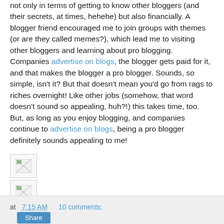not only in terms of getting to know other bloggers (and their secrets, at times, hehehe) but also financially. A blogger friend encouraged me to join groups with themes (or are they called memes?), which lead me to visiting other bloggers and learning about pro blogging. Companies advertise on blogs, the blogger gets paid for it, and that makes the blogger a pro blogger. Sounds, so simple, isn't it? But that doesn't mean you'd go from rags to riches overnight! Like other jobs (somehow, that word doesn't sound so appealing, huh?!) this takes time, too. But, as long as you enjoy blogging, and companies continue to advertise on blogs, being a pro blogger definitely sounds appealing to me!
[Figure (other): Small broken image icon placeholder 1]
[Figure (other): Small broken image icon placeholder 2]
at 7:15 AM   10 comments: